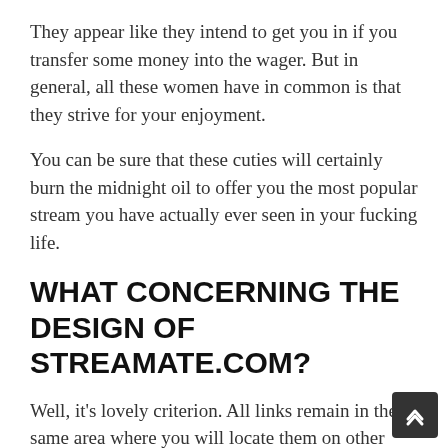They appear like they intend to get you in if you transfer some money into the wager. But in general, all these women have in common is that they strive for your enjoyment.
You can be sure that these cuties will certainly burn the midnight oil to offer you the most popular stream you have actually ever seen in your fucking life.
WHAT CONCERNING THE DESIGN OF STREAMATE.COM?
Well, it's lovely criterion. All links remain in the same area where you will locate them on other websites.
There are only a few tabs on top: Schedule, New Models, and Website Language.